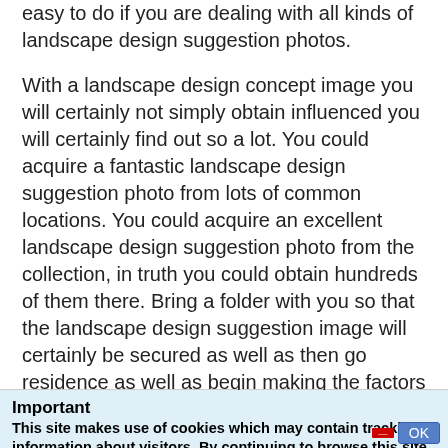easy to do if you are dealing with all kinds of landscape design suggestion photos.
With a landscape design concept image you will certainly not simply obtain influenced you will certainly find out so a lot. You could acquire a fantastic landscape design suggestion photo from lots of common locations. You could acquire an excellent landscape design suggestion photo from the collection, in truth you could obtain hundreds of them there. Bring a folder with you so that the landscape design suggestion image will certainly be secured as well as then go residence as well as begin making the factors that you like in each landscape design concept image as well as the points that you despise.
Important
This site makes use of cookies which may contain tracking information about visitors. By continuing to browse this site you agree to our use of cookies.